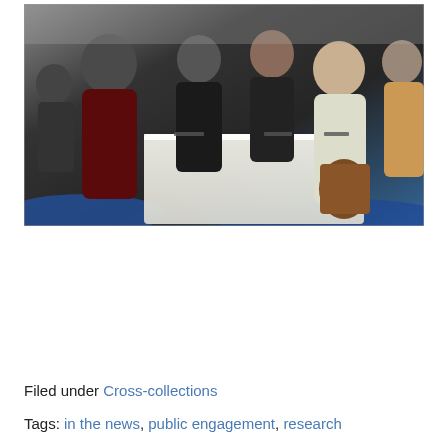[Figure (photo): People standing around a white illuminated display table in what appears to be a retail or museum setting, looking at items on the table. The floor has blue coverings. Several people are examining small devices.]
(more…)
Filed under Cross-collections
Tags: in the news, public engagement, research